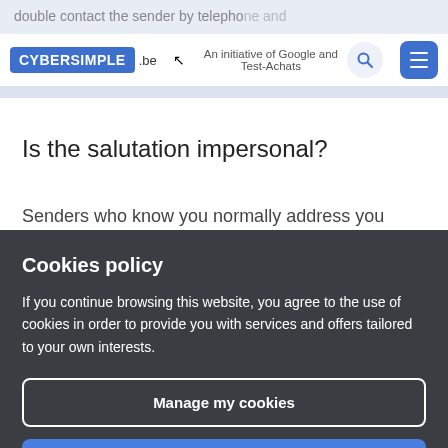CYBERSIMPLE .be — An initiative of Google and Test-Achats
double contact the sender by telephone and the usual email address.
Is the salutation impersonal?
Senders who know you normally address you
Cookies policy

If you continue browsing this website, you agree to the use of cookies in order to provide you with services and offers tailored to your own interests.
Manage my cookies
Accept and close